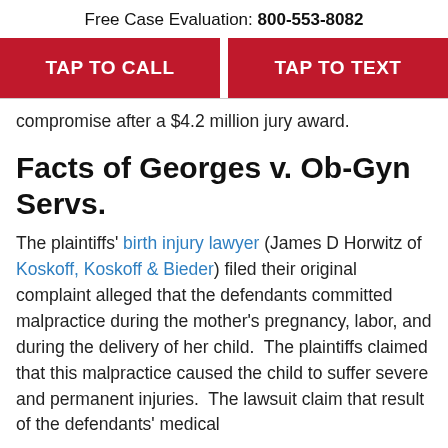Free Case Evaluation: 800-553-8082
[Figure (other): Two red call-to-action buttons: TAP TO CALL and TAP TO TEXT]
compromise after a $4.2 million jury award.
Facts of Georges v. Ob-Gyn Servs.
The plaintiffs' birth injury lawyer (James D Horwitz of Koskoff, Koskoff & Bieder) filed their original complaint alleged that the defendants committed malpractice during the mother's pregnancy, labor, and during the delivery of her child.  The plaintiffs claimed that this malpractice caused the child to suffer severe and permanent injuries.  The lawsuit claim that result of the defendants' medical